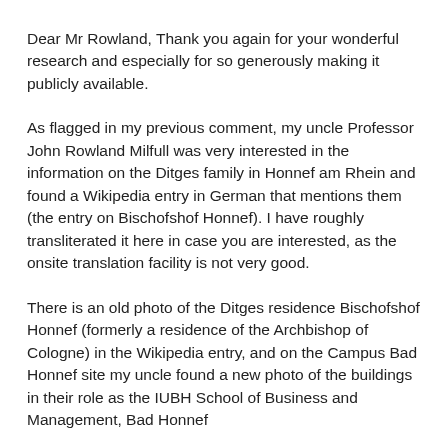Dear Mr Rowland, Thank you again for your wonderful research and especially for so generously making it publicly available.
As flagged in my previous comment, my uncle Professor John Rowland Milfull was very interested in the information on the Ditges family in Honnef am Rhein and found a Wikipedia entry in German that mentions them (the entry on Bischofshof Honnef). I have roughly transliterated it here in case you are interested, as the onsite translation facility is not very good.
There is an old photo of the Ditges residence Bischofshof Honnef (formerly a residence of the Archbishop of Cologne) in the Wikipedia entry, and on the Campus Bad Honnef site my uncle found a new photo of the buildings in their role as the IUBH School of Business and Management, Bad Honnef